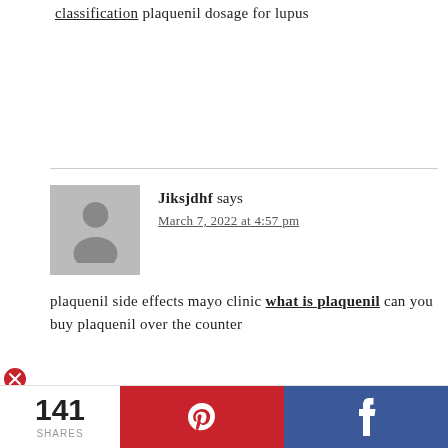classification plaquenil dosage for lupus
Jiksjdhf says
March 7, 2022 at 4:57 pm
plaquenil side effects mayo clinic what is plaquenil can you buy plaquenil over the counter
CialisG says
March 11, 2022 at 12:21 pm
141 SHARES